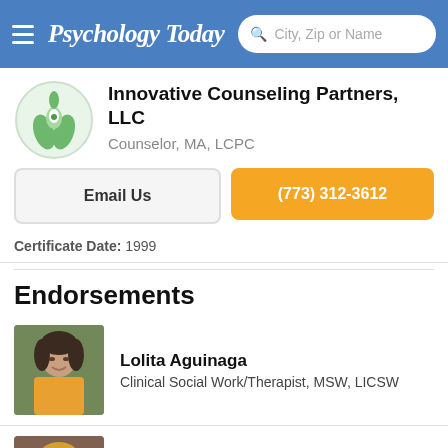Psychology Today | City, Zip or Name
Innovative Counseling Partners, LLC
Counselor, MA, LCPC
Email Us
(773) 312-3612
Certificate Date: 1999
Endorsements
Lolita Aguinaga
Clinical Social Work/Therapist, MSW, LICSW
Patricia Lovelace
Clinical Social Work/Therapist, LCSW, CGP